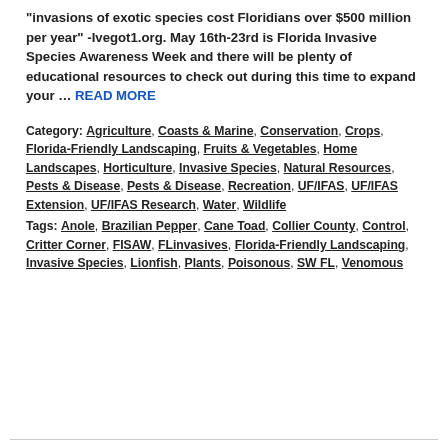invasions of exotic species cost Floridians over $500 million per year" -Ivegot1.org. May 16th-23rd is Florida Invasive Species Awareness Week and there will be plenty of educational resources to check out during this time to expand your … READ MORE
Category: Agriculture, Coasts & Marine, Conservation, Crops, Florida-Friendly Landscaping, Fruits & Vegetables, Home Landscapes, Horticulture, Invasive Species, Natural Resources, Pests & Disease, Pests & Disease, Recreation, UF/IFAS, UF/IFAS Extension, UF/IFAS Research, Water, Wildlife
Tags: Anole, Brazilian Pepper, Cane Toad, Collier County, Control, Critter Corner, FISAW, FLinvasives, Florida-Friendly Landscaping, Invasive Species, Lionfish, Plants, Poisonous, SW FL, Venomous